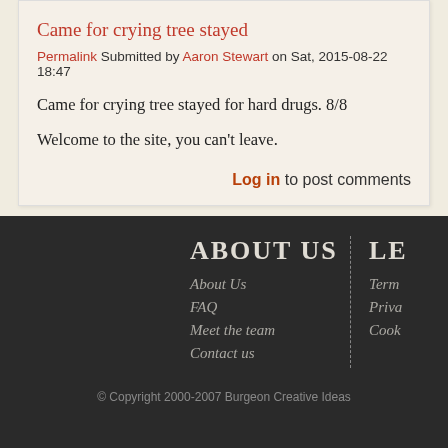Came for crying tree stayed
Permalink Submitted by Aaron Stewart on Sat, 2015-08-22 18:47
Came for crying tree stayed for hard drugs. 8/8
Welcome to the site, you can't leave.
Log in to post comments
ABOUT US
About Us
FAQ
Meet the team
Contact us
LE...
Term...
Priva...
Cook...
© Copyright 2000-2007 Burgeon Creative Ideas